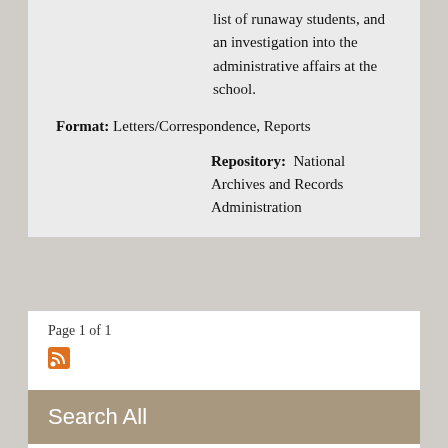list of runaway students, and an investigation into the administrative affairs at the school.
Format: Letters/Correspondence, Reports
Repository: National Archives and Records Administration
Page 1 of 1
Search All
Search